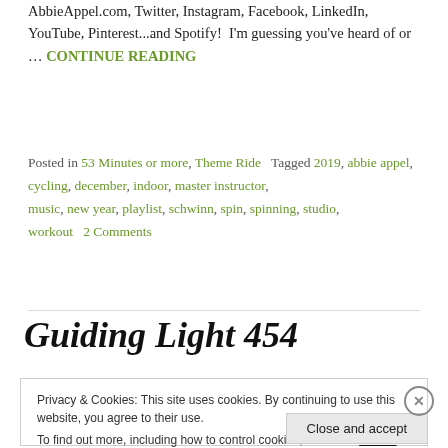AbbieAppel.com, Twitter, Instagram, Facebook, LinkedIn, YouTube, Pinterest...and Spotify!  I'm guessing you've heard of or … CONTINUE READING
Posted in 53 Minutes or more, Theme Ride   Tagged 2019, abbie appel, cycling, december, indoor, master instructor, music, new year, playlist, schwinn, spin, spinning, studio, workout   2 Comments
Guiding Light 454
Privacy & Cookies: This site uses cookies. By continuing to use this website, you agree to their use. To find out more, including how to control cookies, see here: Cookie Policy
Close and accept